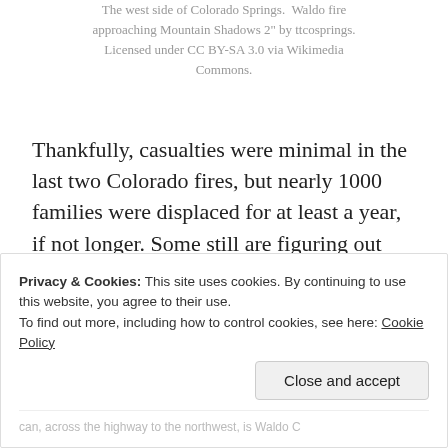The west side of Colorado Springs. Waldo fire approaching Mountain Shadows 2" by ttcosprings. Licensed under CC BY-SA 3.0 via Wikimedia Commons.
Thankfully, casualties were minimal in the last two Colorado fires, but nearly 1000 families were displaced for at least a year, if not longer. Some still are figuring out how to rebuild.
Privacy & Cookies: This site uses cookies. By continuing to use this website, you agree to their use. To find out more, including how to control cookies, see here: Cookie Policy
can, across the highway to the northwest, is Waldo C